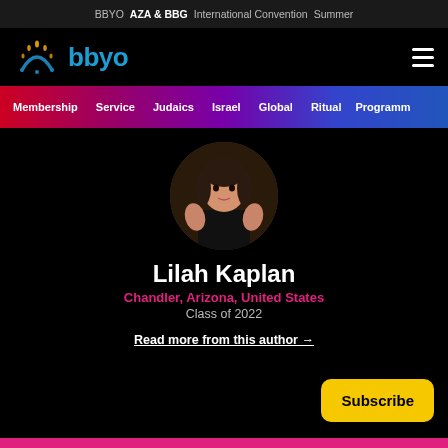BBYO  AZA & BBG  International Convention  Summer
[Figure (logo): BBYO logo with menorah icon and blue 'bbyo' wordmark]
≡
Membership  Service  Judaics  Israel  Global  Ritual  Programming
[Figure (photo): Circular profile photo of Lilah Kaplan, a young woman in a black top]
Lilah Kaplan
Chandler, Arizona, United States
Class of 2022
Read more from this author →
Subscribe